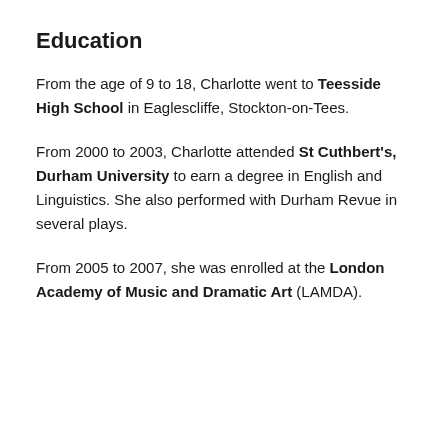Education
From the age of 9 to 18, Charlotte went to Teesside High School in Eaglescliffe, Stockton-on-Tees.
From 2000 to 2003, Charlotte attended St Cuthbert's, Durham University to earn a degree in English and Linguistics. She also performed with Durham Revue in several plays.
From 2005 to 2007, she was enrolled at the London Academy of Music and Dramatic Art (LAMDA).